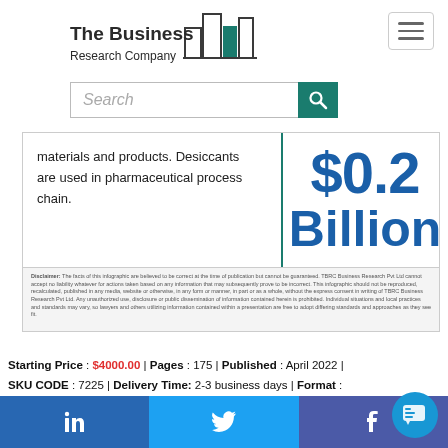[Figure (logo): The Business Research Company logo with building icon and teal bar chart]
Search
materials and products. Desiccants are used in pharmaceutical process chain.
$0.2 Billion
Disclaimer: The facts of this infographic are believed to be correct at the time of publication but cannot be guaranteed. TBRC Business Research Pvt Ltd cannot accept no liability whatever for actions taken based on any information that may subsequently prove to be incorrect. This infographic should not be reproduced, recalculated, published in any media, website or otherwise, in any form or manner, in part or as a whole, without the express consent in writing of TBRC Business Research Pvt Ltd. Any unauthorized use, disclosure or public dissemination of information contained herein is prohibited. Individual situations and local practices and standards may vary, so lawyers and others utilizing information contained within a presentation are free to adopt differing standards and approaches as they see fit.
Starting Price : $4000.00 | Pages : 175 | Published : April 2022 |
SKU CODE : 7225 | Delivery Time: 2-3 business days | Format :